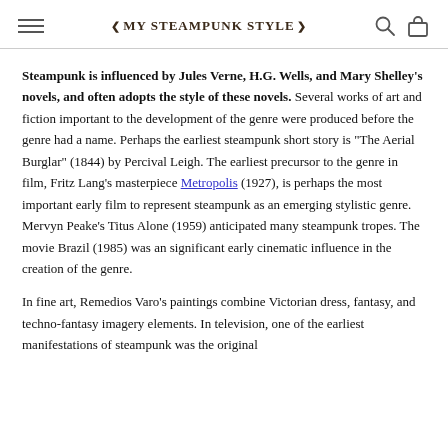MY STEAMPUNK STYLE
Steampunk is influenced by Jules Verne, H.G. Wells, and Mary Shelley's novels, and often adopts the style of these novels. Several works of art and fiction important to the development of the genre were produced before the genre had a name. Perhaps the earliest steampunk short story is "The Aerial Burglar" (1844) by Percival Leigh. The earliest precursor to the genre in film, Fritz Lang's masterpiece Metropolis (1927), is perhaps the most important early film to represent steampunk as an emerging stylistic genre. Mervyn Peake's Titus Alone (1959) anticipated many steampunk tropes. The movie Brazil (1985) was an significant early cinematic influence in the creation of the genre.
In fine art, Remedios Varo's paintings combine Victorian dress, fantasy, and techno-fantasy imagery elements. In television, one of the earliest manifestations of steampunk was the original